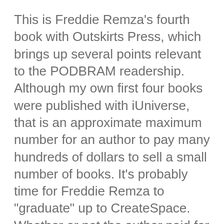This is Freddie Remza's fourth book with Outskirts Press, which brings up several points relevant to the PODBRAM readership. Although my own first four books were published with iUniverse, that is an approximate maximum number for an author to pay many hundreds of dollars to sell a small number of books. It's probably time for Freddie Remza to "graduate" up to CreateSpace. Whether or not the author paid for extra services at Outskirts, The Poison Ring is certainly one of the best proofread POD books I have encountered. Other than a minimum number of typos and the aforementioned tense issue, Freddie's fourth effort is a slick, professional product. If the author can reproduce this quality of work on her own at CS, she could be on her way to making more in royalties than she pays in fees.
The highest compliment I can pay to Ms. Remza is to